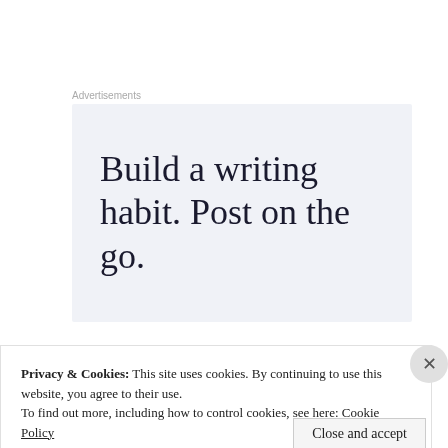Advertisements
[Figure (other): Advertisement box with light blue-gray background displaying the text 'Build a writing habit. Post on the go.']
Privacy & Cookies: This site uses cookies. By continuing to use this website, you agree to their use.
To find out more, including how to control cookies, see here: Cookie Policy
Close and accept
WordPress Works Best